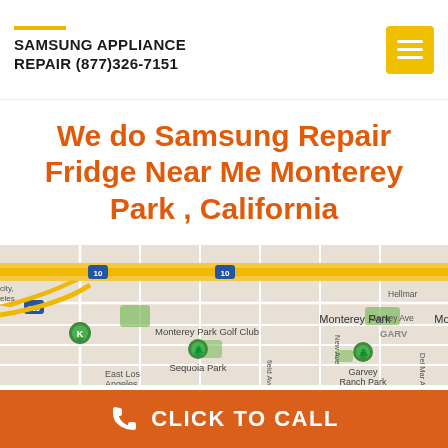SAMSUNG APPLIANCE REPAIR (877)326-7151
We do Samsung Repair Fridge Near Me Monterey Park , California
[Figure (map): Google Maps screenshot showing Monterey Park area in California with labeled landmarks: Monterey Park Golf Club, Sequoia Park, Garvey Ranch Park, East Los Angeles, Hellman area, Garvey Ave, highway markers for I-10 and 710]
CLICK TO CALL